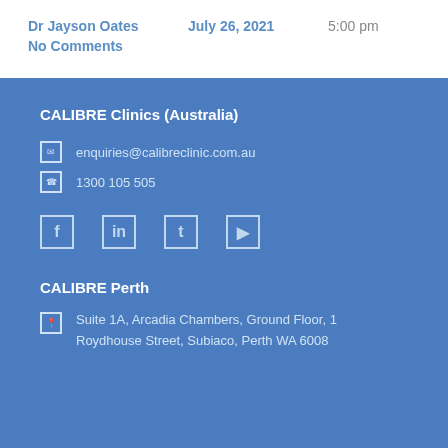Dr Jayson Oates   July 26, 2021   5:00 pm
No Comments
CALIBRE Clinics (Australia)
enquiries@calibreclinic.com.au
1300 105 505
[Figure (other): Four social media icon buttons (Facebook, Instagram, Twitter, LinkedIn style square icons) in light blue outline style]
CALIBRE Perth
Suite 1A, Arcadia Chambers, Ground Floor, 1 Roydhouse Street, Subiaco, Perth WA 6008